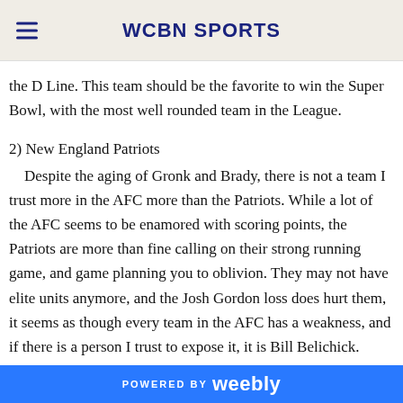WCBN SPORTS
the D Line. This team should be the favorite to win the Super Bowl, with the most well rounded team in the League.
2) New England Patriots
Despite the aging of Gronk and Brady, there is not a team I trust more in the AFC more than the Patriots. While a lot of the AFC seems to be enamored with scoring points, the Patriots are more than fine calling on their strong running game, and game planning you to oblivion. They may not have elite units anymore, and the Josh Gordon loss does hurt them, it seems as though every team in the AFC has a weakness, and if there is a person I trust to expose it, it is Bill Belichick.
POWERED BY weebly